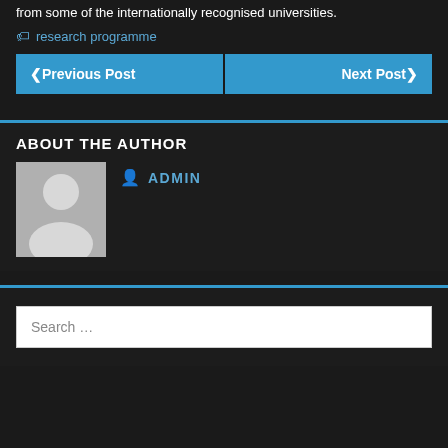from some of the internationally recognised universities.
research programme
❮Previous Post
Next Post❯
ABOUT THE AUTHOR
[Figure (illustration): Default user avatar silhouette on grey background]
ADMIN
Search ...